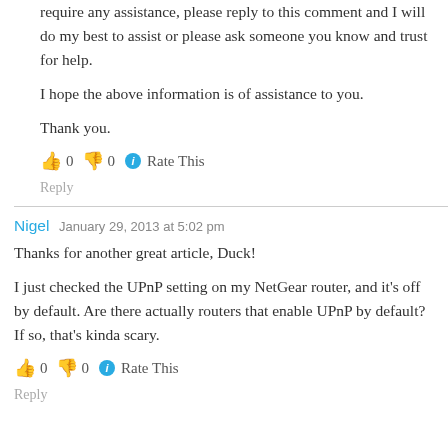require any assistance, please reply to this comment and I will do my best to assist or please ask someone you know and trust for help.
I hope the above information is of assistance to you.
Thank you.
👍 0 👎 0 ℹ Rate This
Reply
Nigel   January 29, 2013 at 5:02 pm
Thanks for another great article, Duck!
I just checked the UPnP setting on my NetGear router, and it's off by default. Are there actually routers that enable UPnP by default? If so, that's kinda scary.
👍 0 👎 0 ℹ Rate This
Reply